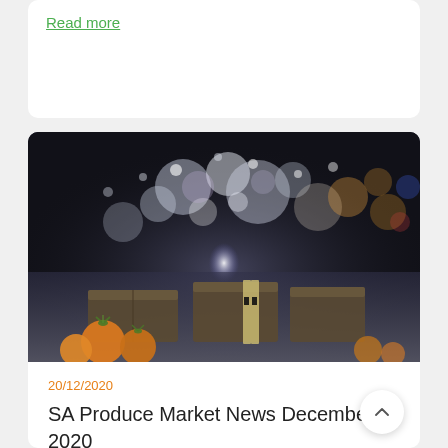Read more
[Figure (photo): Blurred bokeh lights in a large market hall at night, with boxes of orange/yellow tomatoes in the foreground]
20/12/2020
SA Produce Market News December 2020